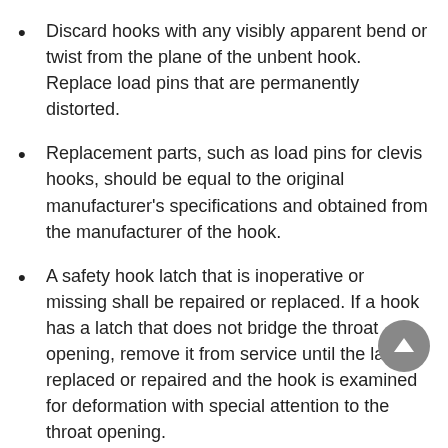Discard hooks with any visibly apparent bend or twist from the plane of the unbent hook. Replace load pins that are permanently distorted.
Replacement parts, such as load pins for clevis hooks, should be equal to the original manufacturer's specifications and obtained from the manufacturer of the hook.
A safety hook latch that is inoperative or missing shall be repaired or replaced. If a hook has a latch that does not bridge the throat opening, remove it from service until the latch is replaced or repaired and the hook is examined for deformation with special attention to the throat opening.
A designated person shall repair cracks, nicks, and gouges by grinding longitudinally, following the contour of the hook, provided no dimension is reduced more than 10 percent (or as recommended by the manufacturer) of its original value. All other